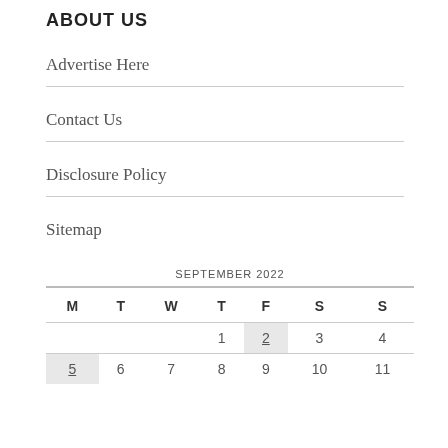ABOUT US
Advertise Here
Contact Us
Disclosure Policy
Sitemap
SEPTEMBER 2022
| M | T | W | T | F | S | S |
| --- | --- | --- | --- | --- | --- | --- |
|  |  |  | 1 | 2 | 3 | 4 |
| 5 | 6 | 7 | 8 | 9 | 10 | 11 |